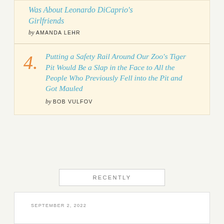Was About Leonardo DiCaprio's Girlfriends
by AMANDA LEHR
4. Putting a Safety Rail Around Our Zoo's Tiger Pit Would Be a Slap in the Face to All the People Who Previously Fell into the Pit and Got Mauled
by BOB VULFOV
RECENTLY
SEPTEMBER 2, 2022